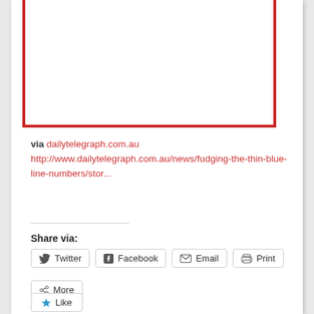[Figure (other): White rectangular image area with red left, bottom, and right borders (no top border), representing an embedded article image placeholder from dailytelegraph.com.au]
via dailytelegraph.com.au
http://www.dailytelegraph.com.au/news/fudging-the-thin-blue-line-numbers/stor...
Share via:
Twitter  Facebook  Email  Print
More
Like